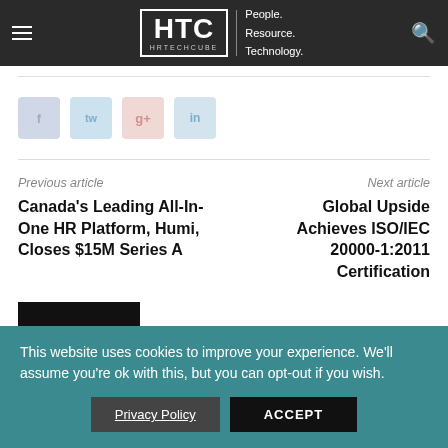HTC HRTECHCUBE | People. Resource. Technology.
[Figure (logo): Social share buttons: Facebook, Twitter, Google+, LinkedIn]
Previous article
Next article
Canada's Leading All-In-One HR Platform, Humi, Closes $15M Series A
Global Upside Achieves ISO/IEC 20000-1:2011 Certification
This website uses cookies to improve your experience. We'll assume you're ok with this, but you can opt-out if you wish.
Privacy Policy
ACCEPT